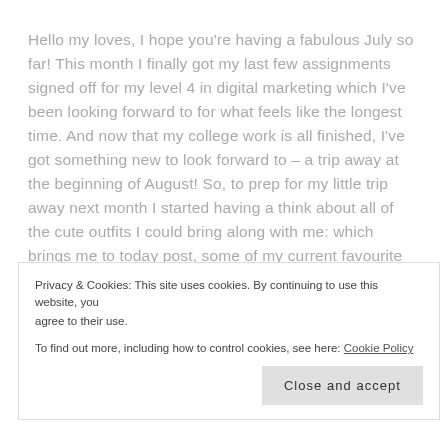Hello my loves, I hope you're having a fabulous July so far! This month I finally got my last few assignments signed off for my level 4 in digital marketing which I've been looking forward to for what feels like the longest time. And now that my college work is all finished, I've got something new to look forward to – a trip away at the beginning of August! So, to prep for my little trip away next month I started having a think about all of the cute outfits I could bring along with me: which brings me to today post, some of my current favourite outfits and new purchases!
O…
Privacy & Cookies: This site uses cookies. By continuing to use this website, you agree to their use.
To find out more, including how to control cookies, see here: Cookie Policy
Close and accept